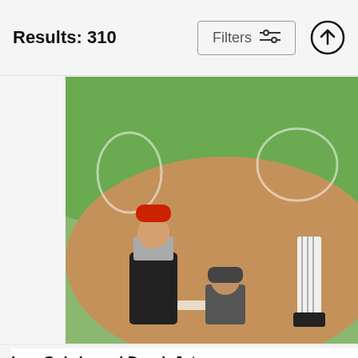Results: 310
[Figure (other): Filters button with sliders icon]
[Figure (other): Upload/up arrow button]
[Figure (photo): Baseball game photo showing pitcher in black jersey with red cap, catcher crouching, and batter in pinstripes at home plate on a dirt and grass field]
Lou Gehrig and Derek Jeter
New York Daily News
$9.62
[Figure (photo): Baseball pitcher in New York Yankees white uniform mid-throw, crowd blurred in background]